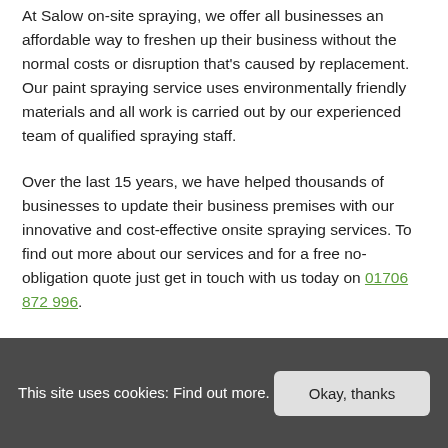At Salow on-site spraying, we offer all businesses an affordable way to freshen up their business without the normal costs or disruption that's caused by replacement. Our paint spraying service uses environmentally friendly materials and all work is carried out by our experienced team of qualified spraying staff.
Over the last 15 years, we have helped thousands of businesses to update their business premises with our innovative and cost-effective onsite spraying services. To find out more about our services and for a free no-obligation quote just get in touch with us today on 01706 872 996.
This site uses cookies: Find out more.